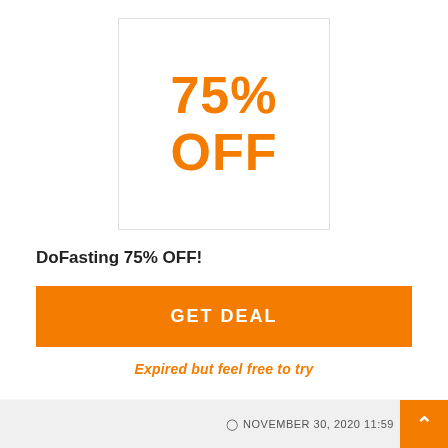[Figure (infographic): A white box with border showing '75% OFF' in large bold orange text]
DoFasting 75% OFF!
GET DEAL
Expired but feel free to try
NOVEMBER 30, 2020 11:59